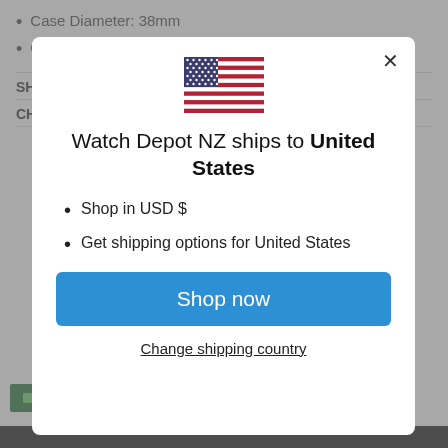Case Diameter: 38mm
Case Thickness: 11mm
[Figure (screenshot): Modal dialog on a webpage. Contains a US flag icon, heading 'Watch Depot NZ ships to United States', bullet list with 'Shop in USD $' and 'Get shipping options for United States', a blue 'Shop now' button, and an underlined 'Change shipping country' link. Background shows a partially visible product page with greyed-out content.]
Watch Depot NZ ships to United States
Shop in USD $
Get shipping options for United States
Shop now
Change shipping country
Our aim is to bring to you the best products at a